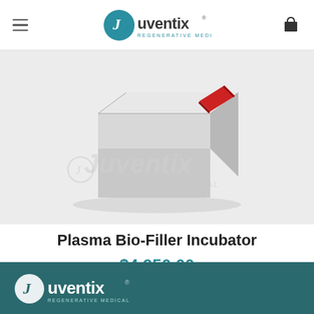Juventix Regenerative Medical
[Figure (photo): Plasma Bio-Filler Incubator device — a silver/gray metallic box with a small red label on top, photographed on a light gray background with the Juventix Regenerative Medical watermark logo visible.]
Plasma Bio-Filler Incubator
$4,950.00
Juventix Regenerative Medical logo (white on teal background)